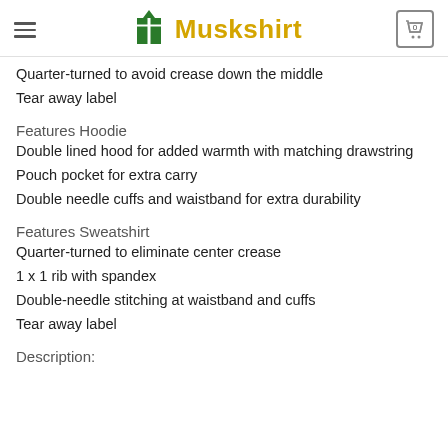Muskshirt
Quarter-turned to avoid crease down the middle
Tear away label
Features Hoodie
Double lined hood for added warmth with matching drawstring
Pouch pocket for extra carry
Double needle cuffs and waistband for extra durability
Features Sweatshirt
Quarter-turned to eliminate center crease
1 x 1 rib with spandex
Double-needle stitching at waistband and cuffs
Tear away label
Description: